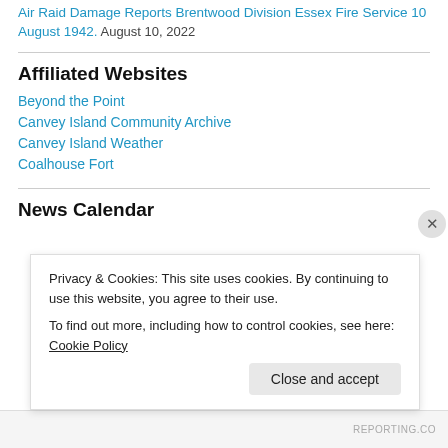Air Raid Damage Reports Brentwood Division Essex Fire Service 10 August 1942. August 14, 2022
Affiliated Websites
Beyond the Point
Canvey Island Community Archive
Canvey Island Weather
Coalhouse Fort
News Calendar
Privacy & Cookies: This site uses cookies. By continuing to use this website, you agree to their use.
To find out more, including how to control cookies, see here: Cookie Policy
Close and accept